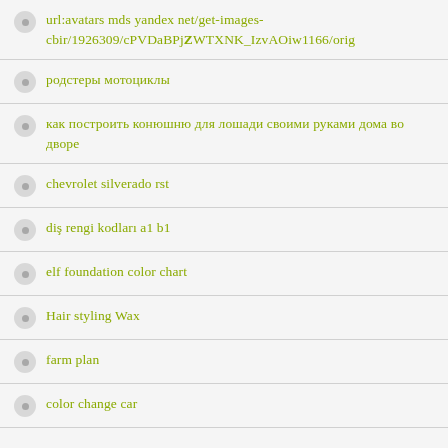url:avatars mds yandex net/get-images-cbir/1926309/cPVDaBPjZWTXNK_IzvAOiw1166/orig
родстеры мотоциклы
как построить конюшню для лошади своими руками дома во дворе
chevrolet silverado rst
diş rengi kodları a1 b1
elf foundation color chart
Hair styling Wax
farm plan
color change car